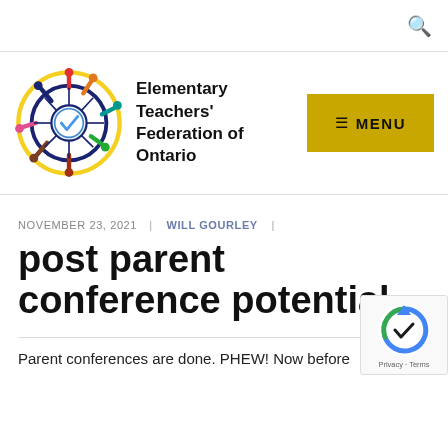Elementary Teachers' Federation of Ontario — site header with search icon and menu button
[Figure (logo): Elementary Teachers' Federation of Ontario circular logo with colorful figures around a compass/wheel design]
Elementary Teachers' Federation of Ontario
MENU
NOVEMBER 23, 2021 | WILL GOURLEY |
post parent conference potential
Parent conferences are done. PHEW! Now before